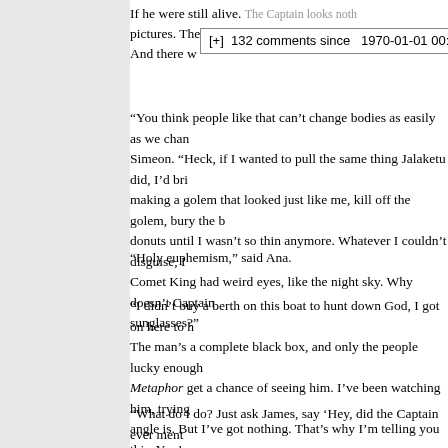If he were still alive. The Captain looks noth... pictures. The Captain is big. The Comet King is tall thin. And there w...
“You think people like that can’t change bodies as easily as we chan... Simeon. “Heck, if I wanted to pull the same thing Jalaketu did, I’d bri... making a golem that looked just like me, kill off the golem, bury the b... donuts until I wasn’t so thin anymore. Whatever I couldn’t disguise, I... Comet King had weird eyes, like the night sky. Why doesn’t Captain... sunglasses?”
“Holy euphemism,” said Ana.
“I didn’t buy a berth on this boat to hunt down God, I got on here to h... The man’s a complete black box, and only the people lucky enough... Metaphor get a chance of seeing him. I’ve been watching him, trying... angle is. But I’ve got nothing. That’s why I’m telling you this. You’re c... can talk to people. Figure out what they know. They’ve been hanging... They must have picked up on something.”
“What do I do? Just ask James, say ‘Hey, did the Captain ever ment... being the Comet King?’”